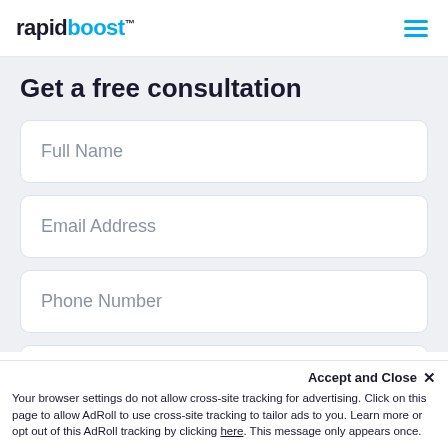rapidboost™
Get a free consultation
Full Name
Email Address
Phone Number
Subject
Accept and Close ×
Your browser settings do not allow cross-site tracking for advertising. Click on this page to allow AdRoll to use cross-site tracking to tailor ads to you. Learn more or opt out of this AdRoll tracking by clicking here. This message only appears once.